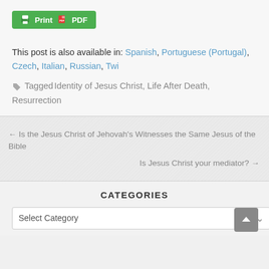[Figure (other): Green Print/PDF button with printer icon and PDF icon]
This post is also available in: Spanish, Portuguese (Portugal), Czech, Italian, Russian, Twi
Tagged Identity of Jesus Christ, Life After Death, Resurrection
← Is the Jesus Christ of Jehovah's Witnesses the Same Jesus of the Bible
Is Jesus Christ your mediator? →
CATEGORIES
Select Category